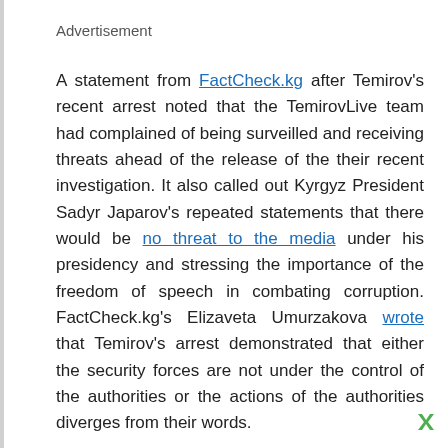Advertisement
A statement from FactCheck.kg after Temirov’s recent arrest noted that the TemirovLive team had complained of being surveilled and receiving threats ahead of the release of the their recent investigation. It also called out Kyrgyz President Sadyr Japarov’s repeated statements that there would be no threat to the media under his presidency and stressing the importance of the freedom of speech in combating corruption. FactCheck.kg’s Elizaveta Umurzakova wrote that Temirov’s arrest demonstrated that either the security forces are not under the control of the authorities or the actions of the authorities diverges from their words.